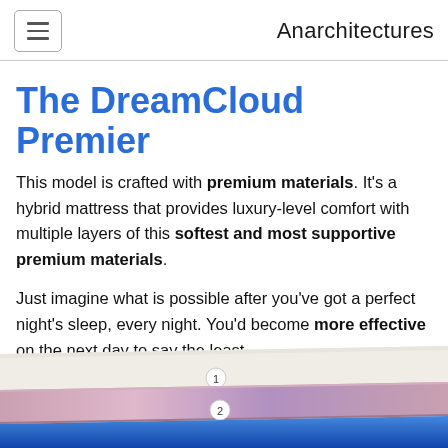Anarchitectures
The DreamCloud Premier
This model is crafted with premium materials. It's a hybrid mattress that provides luxury-level comfort with multiple layers of this softest and most supportive premium materials.
Just imagine what is possible after you've got a perfect night's sleep, every night. You'd become more effective on the next day to say the least.
[Figure (photo): Cross-section diagram of a mattress showing numbered layers (1 and 2 visible), with white/cream top layer and a pink/mauve middle layer and blue bottom layer visible.]